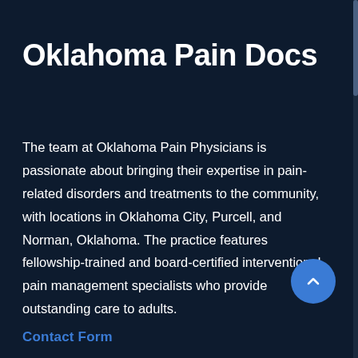Oklahoma Pain Docs
The team at Oklahoma Pain Physicians is passionate about bringing their expertise in pain-related disorders and treatments to the community, with locations in Oklahoma City, Purcell, and Norman, Oklahoma. The practice features fellowship-trained and board-certified interventional pain management specialists who provide outstanding care to adults.
Contact Form